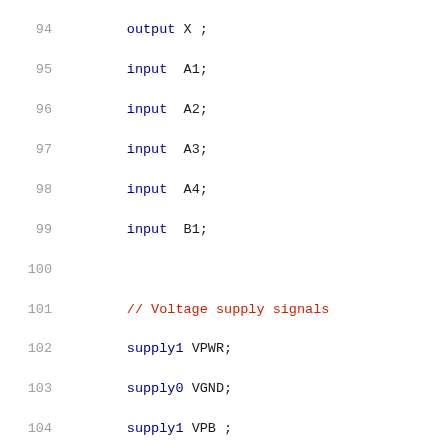Code listing lines 94-115: Verilog HDL module port declarations and instantiation for sky130_fd_sc_lp__a41o